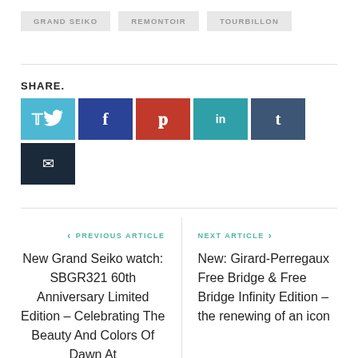GRAND SEIKO
REMONTOIR
TOURBILLON
SHARE.
Social share buttons: Twitter, Facebook, Pinterest, LinkedIn, Tumblr, Email
< PREVIOUS ARTICLE
New Grand Seiko watch: SBGR321 60th Anniversary Limited Edition – Celebrating The Beauty And Colors Of Dawn At
NEXT ARTICLE >
New: Girard-Perregaux Free Bridge & Free Bridge Infinity Edition – the renewing of an icon